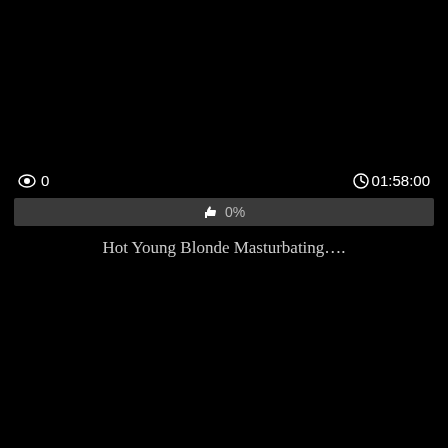👁 0
⏱01:58:00
👍 0%
Hot Young Blonde Masturbating….